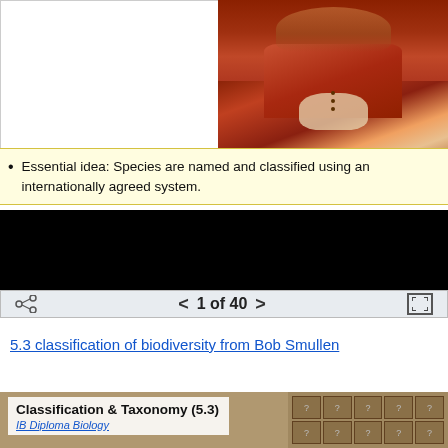[Figure (photo): Portrait painting of a person in a red coat/jacket, classical style oil painting. Left side is white/blank.]
Essential idea: Species are named and classified using an internationally agreed system.
[Figure (screenshot): Black content area (video or image player), navigation bar showing '1 of 40' with left and right arrows, share icon, and fullscreen expand icon.]
5.3 classification of biodiversity from Bob Smullen
[Figure (screenshot): Slide thumbnail showing 'Classification & Taxonomy (5.3)' and 'IB Diploma Biology' with a background of filing cabinet drawers with question marks.]